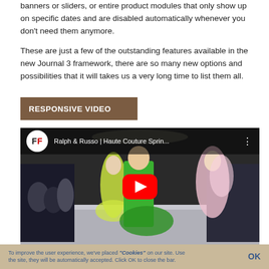banners or sliders, or entire product modules that only show up on specific dates and are disabled automatically whenever you don't need them anymore.

These are just a few of the outstanding features available in the new Journal 3 framework, there are so many new options and possibilities that it will takes us a very long time to list them all.
RESPONSIVE VIDEO
[Figure (other): YouTube video embed showing a fashion runway video titled 'Ralph & Russo | Haute Couture Sprin...' with a red play button overlay. Models wearing green and pink gowns on a runway are visible in the background.]
To improve the user experience, we've placed "Cookies" on our site. Use the site, they will be automatically accepted. Click OK to close the bar.